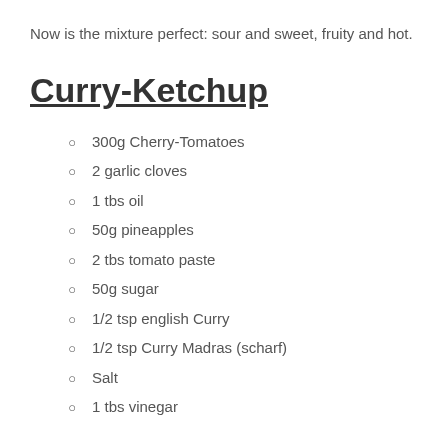Now is the mixture perfect: sour and sweet, fruity and hot.
Curry-Ketchup
300g Cherry-Tomatoes
2 garlic cloves
1 tbs oil
50g pineapples
2 tbs tomato paste
50g sugar
1/2 tsp english Curry
1/2 tsp Curry Madras (scharf)
Salt
1 tbs vinegar